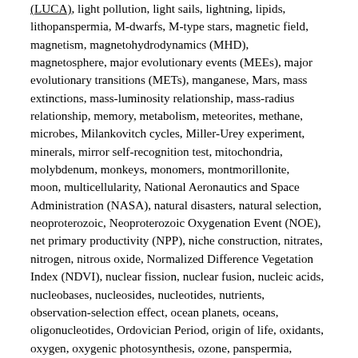(LUCA), light pollution, light sails, lightning, lipids, lithopanspermia, M-dwarfs, M-type stars, magnetic field, magnetism, magnetohydrodynamics (MHD), magnetosphere, major evolutionary events (MEEs), major evolutionary transitions (METs), manganese, Mars, mass extinctions, mass-luminosity relationship, mass-radius relationship, memory, metabolism, meteorites, methane, microbes, Milankovitch cycles, Miller-Urey experiment, minerals, mirror self-recognition test, mitochondria, molybdenum, monkeys, monomers, montmorillonite, moon, multicellularity, National Aeronautics and Space Administration (NASA), natural disasters, natural selection, neoproterozoic, Neoproterozoic Oxygenation Event (NOE), net primary productivity (NPP), niche construction, nitrates, nitrogen, nitrous oxide, Normalized Difference Vegetation Index (NDVI), nuclear fission, nuclear fusion, nucleic acids, nucleobases, nucleosides, nucleotides, nutrients, observation-selection effect, ocean planets, oceans, oligonucleotides, Ordovician Period, origin of life, oxidants, oxygen, oxygenic photosynthesis, ozone, panspermia,